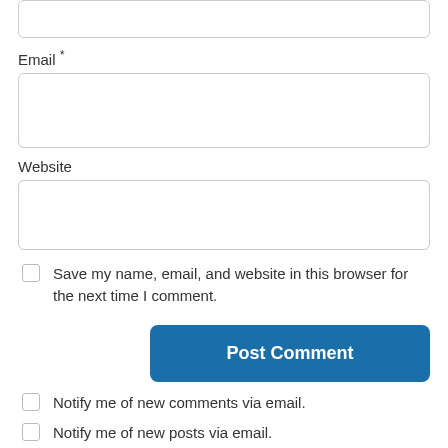[Figure (screenshot): Partial text input box (top of page, truncated)]
Email *
[Figure (screenshot): Email input field (empty text box)]
Website
[Figure (screenshot): Website input field (empty text box)]
Save my name, email, and website in this browser for the next time I comment.
Post Comment
Notify me of new comments via email.
Notify me of new posts via email.